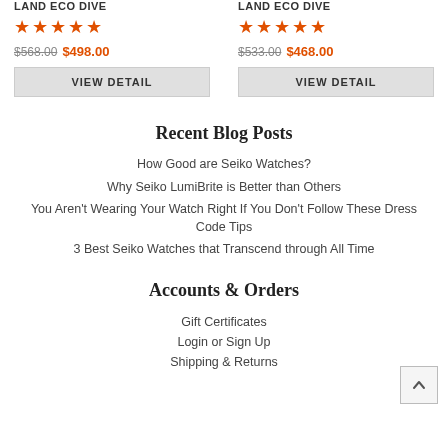LAND ECO DIVE
[Figure (other): 5 orange stars rating]
$568.00 $498.00
VIEW DETAIL
LAND ECO DIVE
[Figure (other): 5 orange stars rating]
$533.00 $468.00
VIEW DETAIL
Recent Blog Posts
How Good are Seiko Watches?
Why Seiko LumiBrite is Better than Others
You Aren't Wearing Your Watch Right If You Don't Follow These Dress Code Tips
3 Best Seiko Watches that Transcend through All Time
Accounts & Orders
Gift Certificates
Login or Sign Up
Shipping & Returns